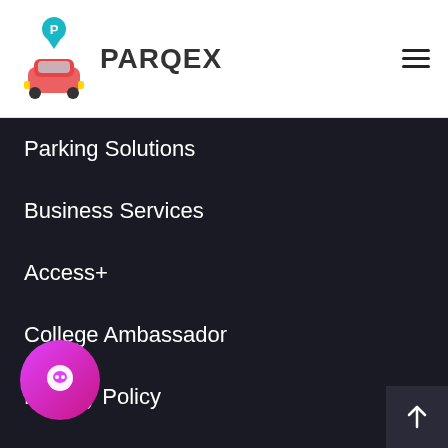PARQEX
Parking Solutions
Business Services
Access+
College Ambassador
Privacy Policy
Terms & Conditions
Contact Us
Jobs
Press
Locations